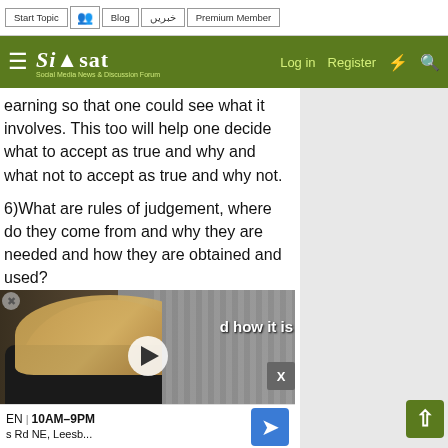Start Topic | [icon] | Blog | خبریں | Premium Member | Log in | Register
learning so that one could see what it involves. This too will help one decide what to accept as true and why and what not to accept as true and why not.
6)What are rules of judgement, where do they come from and why they are needed and how they are obtained and used?
7)What is cherry picking or process of ... and how it is ...
[Figure (screenshot): Video player overlay showing a woman with long hair in front of bookshelves, with a play button in the center. Below is an ad banner showing 'OPEN | 10AM–9PM' and 'Js Rd NE, Leesb...' with a blue map/navigation icon.]